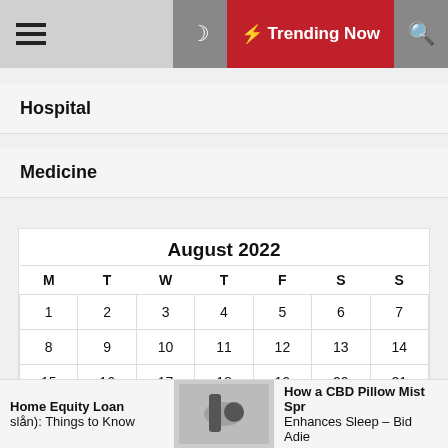Trending Now
Hospital
Medicine
| M | T | W | T | F | S | S |
| --- | --- | --- | --- | --- | --- | --- |
| 1 | 2 | 3 | 4 | 5 | 6 | 7 |
| 8 | 9 | 10 | 11 | 12 | 13 | 14 |
| 15 | 16 | 17 | 18 | 19 | 20 | 21 |
| 22 | 23 | 24 | 25 | 26 | 27 | 28 |
Home Equity Loan slån): Things to Know
How a CBD Pillow Mist Spr Enhances Sleep – Bid Adie